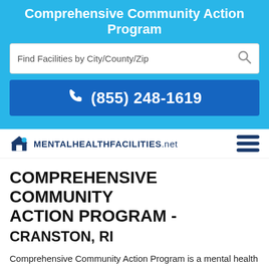Comprehensive Community Action Program
Find Facilities by City/County/Zip
(855) 248-1619
[Figure (logo): MentalHealthFacilities.net logo with house icon and hamburger menu icon]
COMPREHENSIVE COMMUNITY ACTION PROGRAM - CRANSTON, RI
Comprehensive Community Action Program is a mental health facility in Cranston, RI, located at 1090 Cranston Street, 2910 zip code. Comprehensive Community Action Program offers Outpatient treatment. Comprehensive